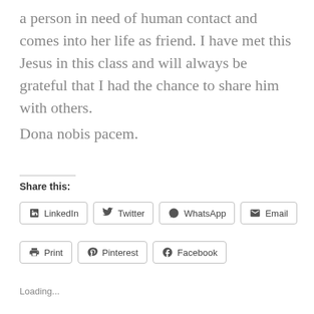a person in need of human contact and comes into her life as friend. I have met this Jesus in this class and will always be grateful that I had the chance to share him with others.
Dona nobis pacem.
Share this:
LinkedIn  Twitter  WhatsApp  Email  Print  Pinterest  Facebook
Loading...